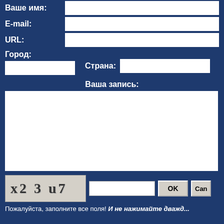Ваше имя:
E-mail:
URL:
Город:
Страна:
Ваша запись:
[Figure (other): CAPTCHA image showing text: x2 3 u7]
Пожалуйста, заполните все поля! И не нажимайте дважды...
Pages: 1 2 3 4 5 6 7 8 9 10 11 ... 20